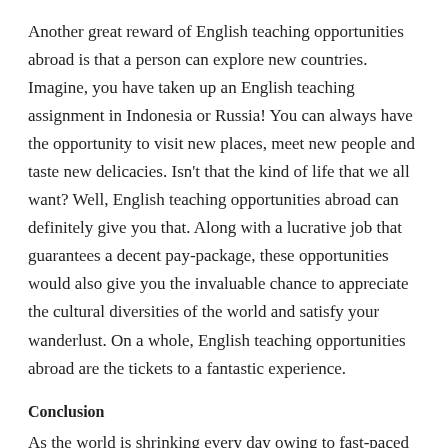Another great reward of English teaching opportunities abroad is that a person can explore new countries. Imagine, you have taken up an English teaching assignment in Indonesia or Russia! You can always have the opportunity to visit new places, meet new people and taste new delicacies. Isn't that the kind of life that we all want? Well, English teaching opportunities abroad can definitely give you that. Along with a lucrative job that guarantees a decent pay-package, these opportunities would also give you the invaluable chance to appreciate the cultural diversities of the world and satisfy your wanderlust. On a whole, English teaching opportunities abroad are the tickets to a fantastic experience.
Conclusion
As the world is shrinking every day owing to fast-paced globalization, English has become highly important, and almost